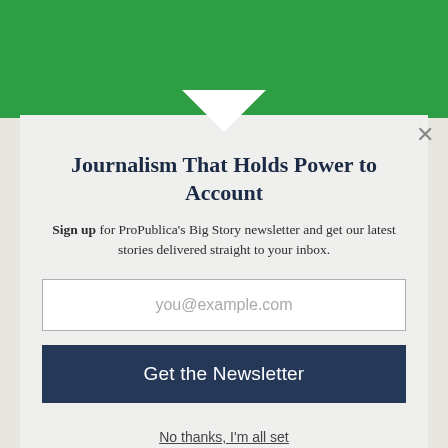[Figure (illustration): Green header bar with white downward-pointing triangle/chevron at center bottom]
Journalism That Holds Power to Account
Sign up for ProPublica's Big Story newsletter and get our latest stories delivered straight to your inbox.
you@example.com
Get the Newsletter
No thanks, I'm all set
This site is protected by reCAPTCHA and the Google Privacy Policy and Terms of Service apply.